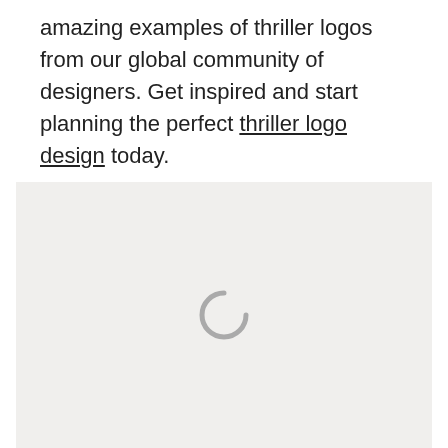amazing examples of thriller logos from our global community of designers. Get inspired and start planning the perfect thriller logo design today.
[Figure (other): A light gray loading placeholder box with a circular spinner/loading icon in the center, indicating content is still loading.]